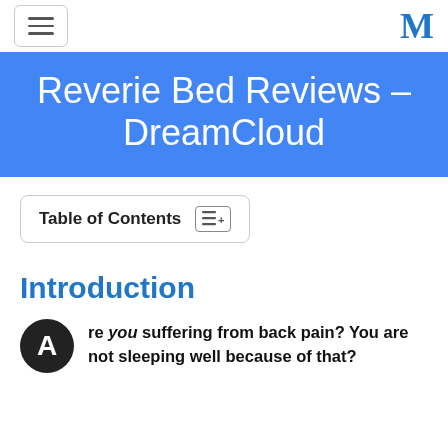Navigation bar with hamburger menu and logo M
Reverie Bed Reviews – DreamCloud
Table of Contents
Introduction
re you suffering from back pain? You are not sleeping well because of that?